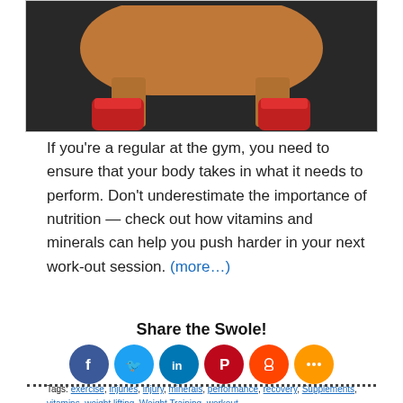[Figure (photo): Close-up photo of a dog wearing red shoes standing on a dark mat, viewed from below showing legs and paws]
If you're a regular at the gym, you need to ensure that your body takes in what it needs to perform. Don't underestimate the importance of nutrition — check out how vitamins and minerals can help you push harder in your next work-out session. (more…)
Share the Swole!
[Figure (infographic): Row of social share icon circles: Facebook, Twitter, LinkedIn, Pinterest, Reddit, More]
Tags: exercise, injuries, injury, minerals, performance, recovery, Supplements, vitamins, weight lifting, Weight Training, workout
Posted in Performance, Supplements | No Comments »